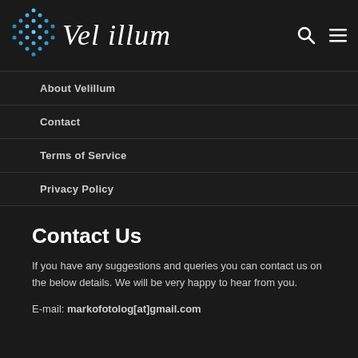Vel illum
About Velillum
Contact
Terms of Service
Privacy Policy
Contact Us
If you have any suggestions and queries you can contact us on the below details. We will be very happy to hear from you.
E-mail: markofotolog[at]gmail.com